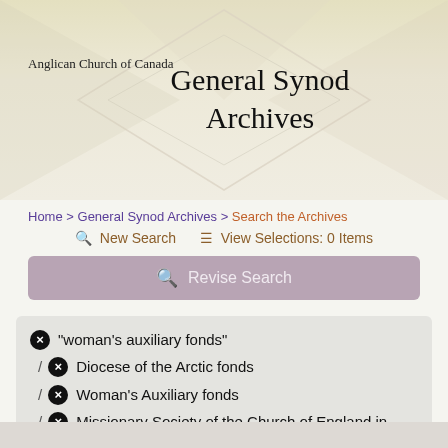Anglican Church of Canada — General Synod Archives
Home > General Synod Archives > Search the Archives
New Search   View Selections: 0 Items
Revise Search
"woman's auxiliary fonds"
/ Diocese of the Arctic fonds
/ Woman's Auxiliary fonds
/ Missionary Society of the Church of England in Canada (MSCC) fonds
/ White, W.C. (William Charles), 1873-1960.